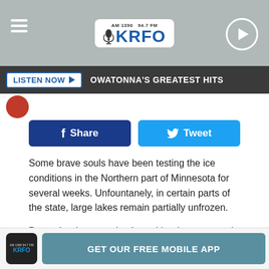[Figure (screenshot): KRFO radio station header with logo AM 1390 94.7 FM KRFO, hamburger menu icon on left, play button on right]
LISTEN NOW ▶   OWATONNA'S GREATEST HITS
[Figure (other): Facebook Share button and Twitter Tweet button]
Some brave souls have been testing the ice conditions in the Northern part of Minnesota for several weeks. Unfountanely, in certain parts of the state, large lakes remain partially unfrozen.
December has surprised us with rain, snow, and fluctuating temperatures: all of which have had an impact on ice-making and preexisting ice.
[Figure (other): GET OUR FREE MOBILE APP banner with KRFO app icon]